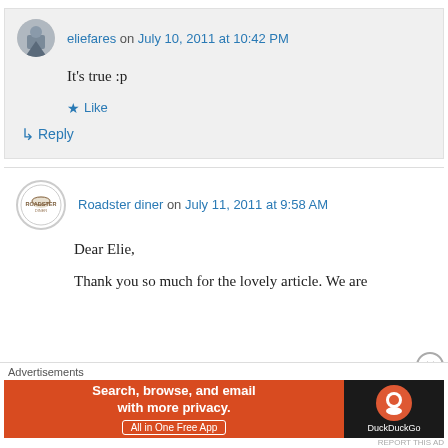eliefares on July 10, 2011 at 10:42 PM
It's true :p
★ Like
↳ Reply
Roadster diner on July 11, 2011 at 9:58 AM
Dear Elie,
Thank you so much for the lovely article. We are
Advertisements
[Figure (screenshot): DuckDuckGo advertisement banner: orange left panel with text 'Search, browse, and email with more privacy. All in One Free App' and dark right panel with DuckDuckGo logo and name.]